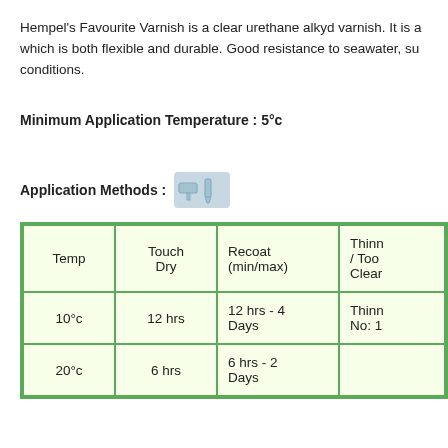Hempel's Favourite Varnish is a clear urethane alkyd varnish. It is a which is both flexible and durable. Good resistance to seawater, su conditions.
Minimum Application Temperature : 5°c
Application Methods :
| Temp | Touch Dry | Recoat (min/max) | Thinn / Too Clear |
| --- | --- | --- | --- |
| 10°c | 12 hrs | 12 hrs  - 4 Days | Thinn No: 1 |
| 20°c | 6 hrs | 6 hrs - 2 Days |  |